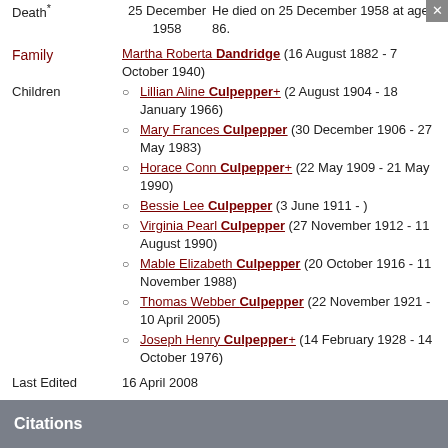Death   25 December 1958   He died on 25 December 1958 at age 86.
Family   Martha Roberta Dandridge (16 August 1882 - 7 October 1940)
Children
Lillian Aline Culpepper+ (2 August 1904 - 18 January 1966)
Mary Frances Culpepper (30 December 1906 - 27 May 1983)
Horace Conn Culpepper+ (22 May 1909 - 21 May 1990)
Bessie Lee Culpepper (3 June 1911 - )
Virginia Pearl Culpepper (27 November 1912 - 11 August 1990)
Mable Elizabeth Culpepper (20 October 1916 - 11 November 1988)
Thomas Webber Culpepper (22 November 1921 - 10 April 2005)
Joseph Henry Culpepper+ (14 February 1928 - 14 October 1976)
Last Edited   16 April 2008
Citations